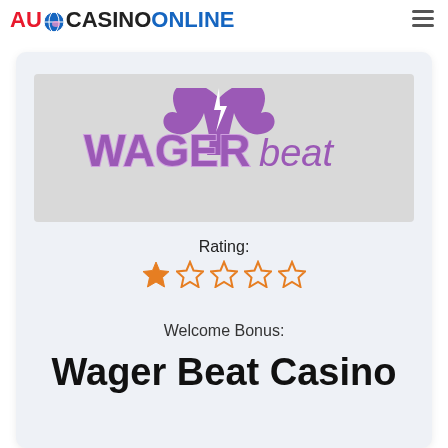AU CASINO ONLINE
[Figure (logo): WagerBeat Casino logo in purple on grey background]
Rating:
[Figure (other): 1 out of 5 stars rating — one filled orange star, four empty orange outline stars]
Welcome Bonus:
Wager Beat Casino